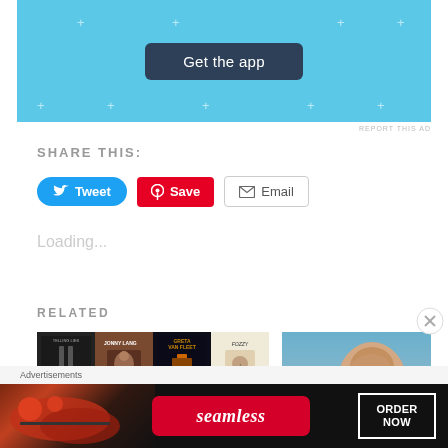[Figure (screenshot): App promotion banner with light blue background and 'Get the app' dark button with decorative plus marks]
REPORT THIS AD
SHARE THIS:
[Figure (screenshot): Tweet button (blue, Twitter bird icon), Save button (red, Pinterest icon), Email button (white/gray, envelope icon)]
Loading...
RELATED
[Figure (photo): Music album art grid collage with 8 album covers including Jonny Lang, Fozzy, and others]
[Figure (photo): Portrait photo of a woman sitting in a car looking down, warm tones]
Advertisements
[Figure (screenshot): Seamless food delivery advertisement banner with pizza photo, Seamless logo and ORDER NOW button]